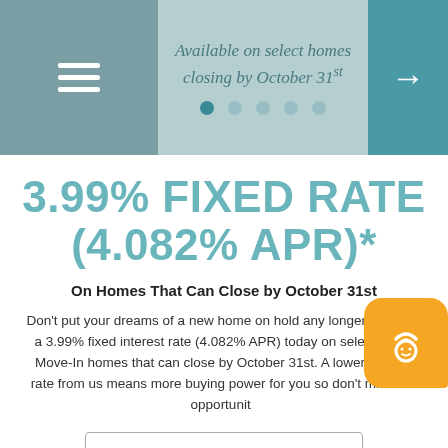Available on select homes closing by October 31st
3.99% FIXED RATE (4.082% APR)*
On Homes That Can Close by October 31st
Don't put your dreams of a new home on hold any longer – secure a 3.99% fixed interest rate (4.082% APR) today on select Quick Move-In homes that can close by October 31st. A lower interest rate from us means more buying power for you so don't miss this opportunity
VIEW PROMOTION